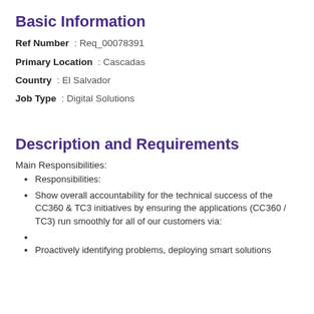Basic Information
Ref Number  : Req_00078391
Primary Location  : Cascadas
Country  : El Salvador
Job Type  : Digital Solutions
Description and Requirements
Main Responsibilities:
Responsibilities:
Show overall accountability for the technical success of the CC360 & TC3 initiatives by ensuring the applications (CC360 / TC3) run smoothly for all of our customers via:
Proactively identifying problems, deploying smart solutions